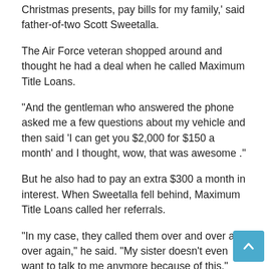Christmas presents, pay bills for my family,' said father-of-two Scott Sweetalla.
The Air Force veteran shopped around and thought he had a deal when he called Maximum Title Loans.
“And the gentleman who answered the phone asked me a few questions about my vehicle and then said ‘I can get you $2,000 for $150 a month’ and I thought, wow, that was awesome .”
But he also had to pay an extra $300 a month in interest. When Sweetalla fell behind, Maximum Title Loans called her referrals.
“In my case, they called them over and over and over again,” he said. “My sister doesn’t even want to talk to me anymore because of this.”
Maximum Title declined an interview request and would not comment on the terms of this or any other loan.
Seven months later, when Sweetalla could no longer make the